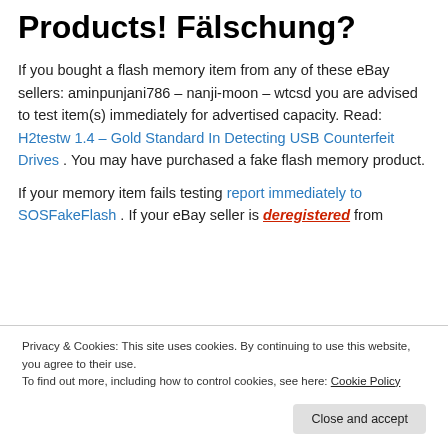Products! Fälschung?
If you bought a flash memory item from any of these eBay sellers: aminpunjani786 – nanji-moon – wtcsd you are advised to test item(s) immediately for advertised capacity. Read: H2testw 1.4 – Gold Standard In Detecting USB Counterfeit Drives . You may have purchased a fake flash memory product.
If your memory item fails testing report immediately to SOSFakeFlash . If your eBay seller is deregistered from
Privacy & Cookies: This site uses cookies. By continuing to use this website, you agree to their use.
To find out more, including how to control cookies, see here: Cookie Policy
Close and accept